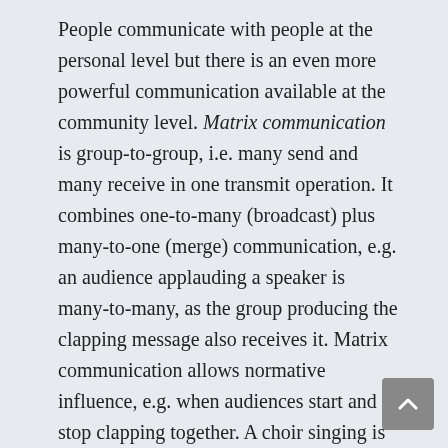People communicate with people at the personal level but there is an even more powerful communication available at the community level. Matrix communication is group-to-group, i.e. many send and many receive in one transmit operation. It combines one-to-many (broadcast) plus many-to-one (merge) communication, e.g. an audience applauding a speaker is many-to-many, as the group producing the clapping message also receives it. Matrix communication allows normative influence, e.g. when audiences start and stop clapping together. A choir singing is also matrix communication, so when choirs go off key they usually do so together.